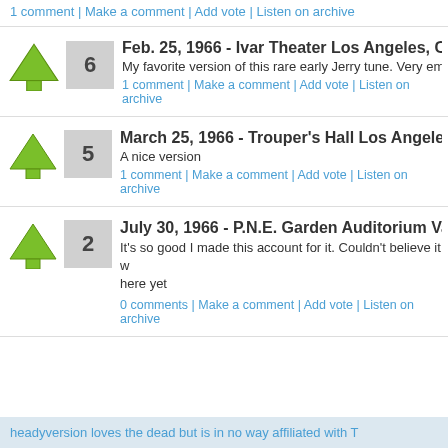1 comment | Make a comment | Add vote | Listen on archive
Feb. 25, 1966 - Ivar Theater Los Angeles, CA — My favorite version of this rare early Jerry tune. Very emot... — 1 comment | Make a comment | Add vote | Listen on archive
March 25, 1966 - Trouper's Hall Los Angeles, CA — A nice version — 1 comment | Make a comment | Add vote | Listen on archive
July 30, 1966 - P.N.E. Garden Auditorium Vancouver, — It's so good I made this account for it. Couldn't believe it w... here yet — 0 comments | Make a comment | Add vote | Listen on archive
headyversion loves the dead but is in no way affiliated with T